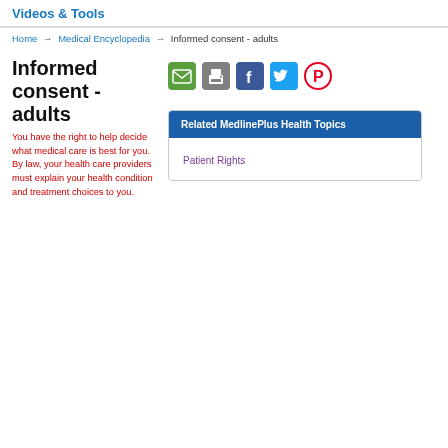Videos & Tools
Home → Medical Encyclopedia → Informed consent - adults
Informed consent - adults
You have the right to help decide what medical care is best for you. By law, your health care providers must explain your health condition and treatment choices to you.
[Figure (infographic): Social sharing icons: email (green), print (gray), Facebook (dark blue), Twitter (light blue), Pinterest (red circle)]
Related MedlinePlus Health Topics
Patient Rights